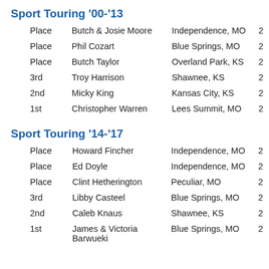Sport Touring '00-'13
| Place | Name | City | Num |
| --- | --- | --- | --- |
| Place | Butch & Josie Moore | Independence, MO | 2 |
| Place | Phil Cozart | Blue Springs, MO | 2 |
| Place | Butch Taylor | Overland Park, KS | 2 |
| 3rd | Troy Harrison | Shawnee, KS | 2 |
| 2nd | Micky King | Kansas City, KS | 2 |
| 1st | Christopher Warren | Lees Summit, MO | 2 |
Sport Touring '14-'17
| Place | Name | City | Num |
| --- | --- | --- | --- |
| Place | Howard Fincher | Independence, MO | 2 |
| Place | Ed Doyle | Independence, MO | 2 |
| Place | Clint Hetherington | Peculiar, MO | 2 |
| 3rd | Libby Casteel | Blue Springs, MO | 2 |
| 2nd | Caleb Knaus | Shawnee, KS | 2 |
| 1st | James & Victoria Barwueki | Blue Springs, MO | 2 |